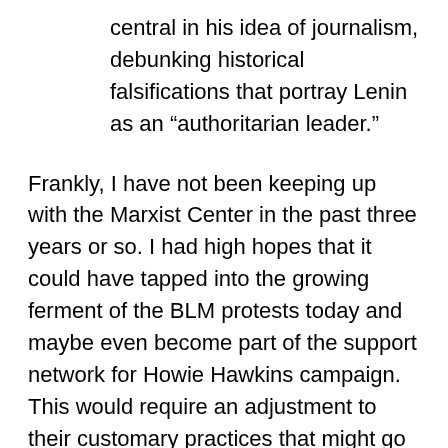central in his idea of journalism, debunking historical falsifications that portray Lenin as an “authoritarian leader.”
Frankly, I have not been keeping up with the Marxist Center in the past three years or so. I had high hopes that it could have tapped into the growing ferment of the BLM protests today and maybe even become part of the support network for Howie Hawkins campaign. This would require an adjustment to their customary practices that might go against the grain. In any case, what they had been doing was of great value even if it falls short of catalyzing the kind of mass revolutionary party that is so badly needed.
The last section of Diego’s article is titled “Where to go from here?”, which obviously evokes Lenin’s 1902